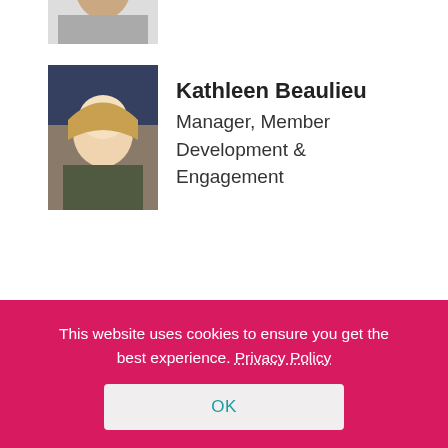[Figure (photo): Partial/cropped photo of a person at the top of the page (only bottom portion visible)]
Kathleen Beaulieu
Manager, Member Development & Engagement
[Figure (photo): Photo of Kathleen Beaulieu, a woman with long blonde hair]
Mario Boone
Media Relations Specialist
[Figure (photo): Photo of Mario Boone, a man wearing glasses]
This website uses cookies to ensure you get the best experience. Privacy Policy
OK